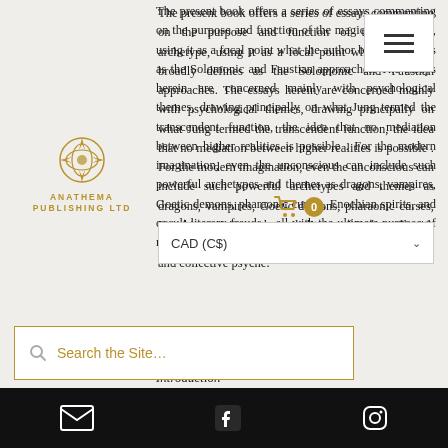The present book offers a series of essays commenting on the purpose and function of the magician archetype, using it as a focal point what the author broadly defines as the Solomonic and Faustian approaches. The essays herein are concerned mainly with psychological themes, drawing principally on what Jung termed the transcendent function, the idea that no mediation between higher realities is possible . For the modern imagination, even the unconscious can include such powerful archetypes and themes as dragons, vampires, Goetic demons, pharaonic curses, Enochian spirits, and occult literary frauds – all with the ultimate purpose of redeeming both the personal and collective psyche.
[Figure (logo): Anathema Publishing Ltd logo with golden ornate emblem and text]
[Figure (screenshot): Website navigation overlay with hamburger menu icon (three horizontal lines) in white box]
[Figure (screenshot): Shopping cart icon with golden badge showing 0 items, and CAD (C$) currency dropdown selector]
[Figure (screenshot): Search the Site... search bar with magnifying glass icon and gold border]
¶ CONTENTS:
Introduction
Email, Facebook, Instagram social media icons on black footer bar